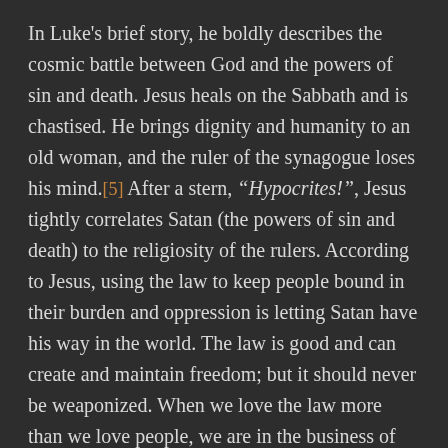In Luke's brief story, he boldly describes the cosmic battle between God and the powers of sin and death. Jesus heals on the Sabbath and is chastised. He brings dignity and humanity to an old woman, and the ruler of the synagogue loses his mind.[5] After a stern, "Hypocrites!", Jesus tightly correlates Satan (the powers of sin and death) to the religiosity of the rulers. According to Jesus, using the law to keep people bound in their burden and oppression is letting Satan have his way in the world. The law is good and can create and maintain freedom; but it should never be weaponized. When we love the law more than we love people, we are in the business of stripping people of their dignity and humanity. The law was made for humans, not humans for the law.
Back to the beginning. God is love because God is active and God's activity is manifest in love loving, which is